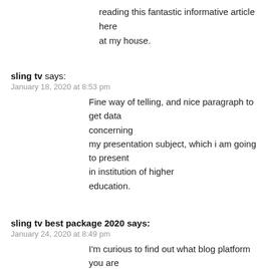reading this fantastic informative article here at my house.
sling tv says:
January 18, 2020 at 8:53 pm
Fine way of telling, and nice paragraph to get data concerning my presentation subject, which i am going to present in institution of higher education.
sling tv best package 2020 says:
January 24, 2020 at 8:49 pm
I'm curious to find out what blog platform you are using?